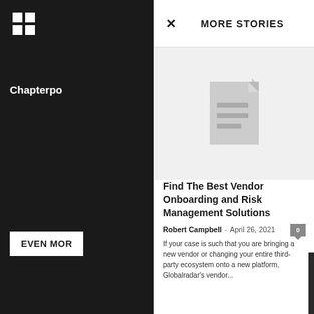[Figure (screenshot): Grid/apps icon in top-left of dark sidebar]
Chapterpo
EVEN MORE
× MORE STORIES
[Figure (illustration): Gray placeholder image with a document/file icon in the center]
Find The Best Vendor Onboarding and Risk Management Solutions
Robert Campbell - April 26, 2021
If your case is such that you are bringing a new vendor or changing your entire third-party ecosystem onto a new platform, Globalradar's vendor...
Importance of Good-Quality Tools & Equipment in the Chiropractic Industry